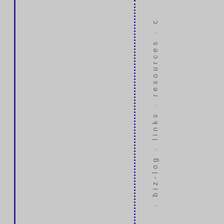· biz-log · links · resources · c